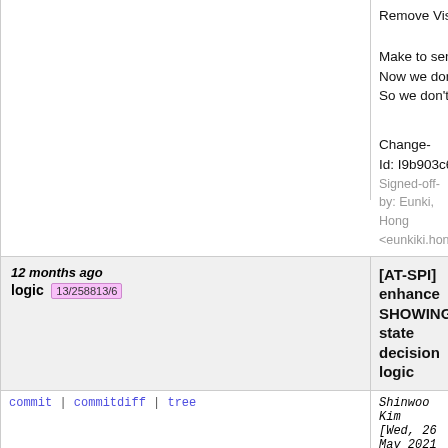Remove VisualFactory::Get() code at AsyncImage
Make to send EncodedImageBuffer from TextureM
Now we don't need to get standalone factory at As
So we don't need fearful exception check

Change-
Id: I9b903c6a446fc167d11bdf7e22e6c7e19d085c
Signed-off-by: Eunki, Hong <eunkiki.hong@samsung.com>
[AT-SPI] enhance SHOWING state decision logic  13/258813/6  12 months ago
commit | commitdiff | tree
Shinwoo Kim [Wed, 26 May 2021 05:11:14 +0000 (14:11 +0900)]
[AT-SPI] enhance SHOWING state decision logic

To define SHOWING state, using CULLED and VI
If a child is clipped out by its parent, then CULLED
We need to use similar logic as EFL does.

./src/lib/elementary/efl_ui_widget.c > _elm_widget
is used for calculating SHOWING state using pare

So this patch set is using parents extent informatio

Change-
Id: I5aecf02e66ee199bd0ee99f3ed3ff471e1ff79e